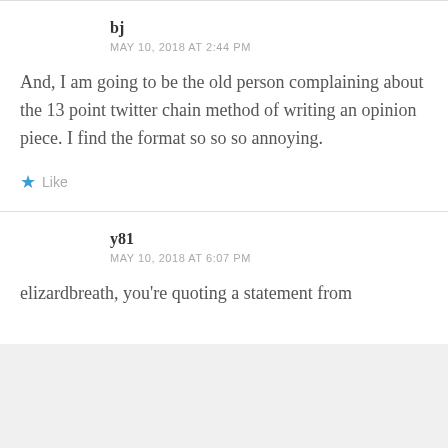bj
MAY 10, 2018 AT 2:44 PM
And, I am going to be the old person complaining about the 13 point twitter chain method of writing an opinion piece. I find the format so so so annoying.
Like
y81
MAY 10, 2018 AT 6:07 PM
elizardbreath, you're quoting a statement from